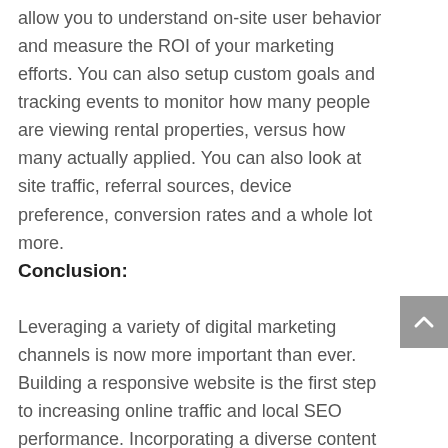allow you to understand on-site user behavior and measure the ROI of your marketing efforts. You can also setup custom goals and tracking events to monitor how many people are viewing rental properties, versus how many actually applied. You can also look at site traffic, referral sources, device preference, conversion rates and a whole lot more.
Conclusion:
Leveraging a variety of digital marketing channels is now more important than ever. Building a responsive website is the first step to increasing online traffic and local SEO performance. Incorporating a diverse content